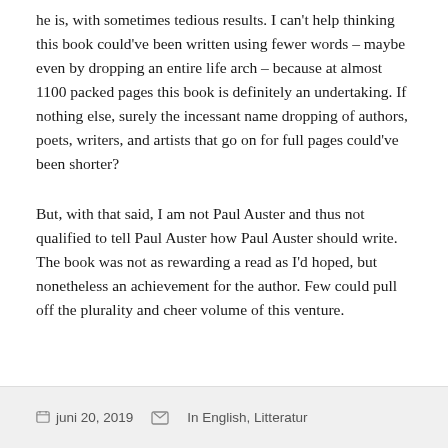he is, with sometimes tedious results. I can't help thinking this book could've been written using fewer words – maybe even by dropping an entire life arch – because at almost 1100 packed pages this book is definitely an undertaking. If nothing else, surely the incessant name dropping of authors, poets, writers, and artists that go on for full pages could've been shorter?
But, with that said, I am not Paul Auster and thus not qualified to tell Paul Auster how Paul Auster should write. The book was not as rewarding a read as I'd hoped, but nonetheless an achievement for the author. Few could pull off the plurality and cheer volume of this venture.
juni 20, 2019   In English, Litteratur